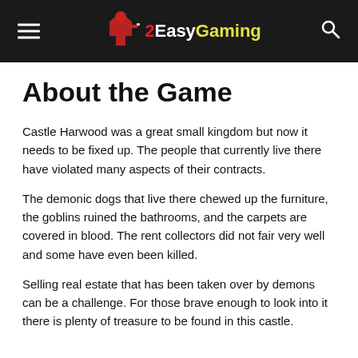2EasyGaming
About the Game
Castle Harwood was a great small kingdom but now it needs to be fixed up. The people that currently live there have violated many aspects of their contracts.
The demonic dogs that live there chewed up the furniture, the goblins ruined the bathrooms, and the carpets are covered in blood. The rent collectors did not fair very well and some have even been killed.
Selling real estate that has been taken over by demons can be a challenge. For those brave enough to look into it there is plenty of treasure to be found in this castle.